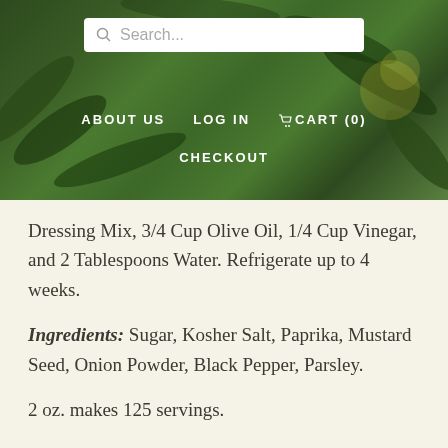[Figure (screenshot): Website header with green leafy plant background, search bar, and navigation links: ABOUT US, LOG IN, CART (0), CHECKOUT]
Dressing Mix, 3/4 Cup Olive Oil, 1/4 Cup Vinegar, and 2 Tablespoons Water. Refrigerate up to 4 weeks.
Ingredients: Sugar, Kosher Salt, Paprika, Mustard Seed, Onion Powder, Black Pepper, Parsley.
2 oz. makes 125 servings.